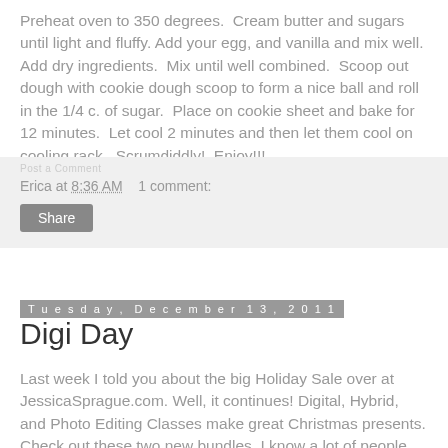Preheat oven to 350 degrees. Cream butter and sugars until light and fluffy. Add your egg, and vanilla and mix well. Add dry ingredients. Mix until well combined. Scoop out dough with cookie dough scoop to form a nice ball and roll in the 1/4 c. of sugar. Place on cookie sheet and bake for 12 minutes. Let cool 2 minutes and then let them cool on cooling rack. Scrumdiddly! Enjoy!!!
Erica at 8:36 AM   1 comment:
Share
Tuesday, December 13, 2011
Digi Day
Last week I told you about the big Holiday Sale over at JessicaSprague.com. Well, it continues! Digital, Hybrid, and Photo Editing Classes make great Christmas presents. Check out these two new bundles. I know a lot of people who would love the photo editing bundle.